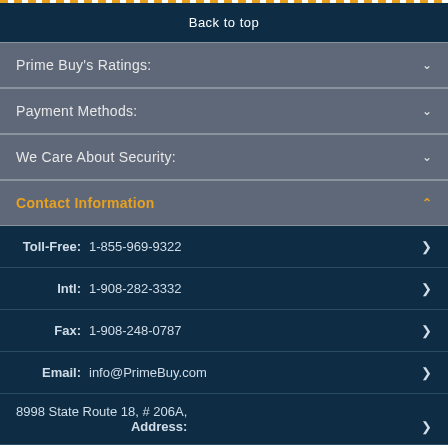Back to top
Prime Buy's Ratings:
Payment Methods:
We Care About Security:
Contact Information
Toll-Free: 1-855-969-9322
Intl: 1-908-282-3332
Fax: 1-908-248-0787
Email: info@PrimeBuy.com
Address: 8998 State Route 18, # 206A,